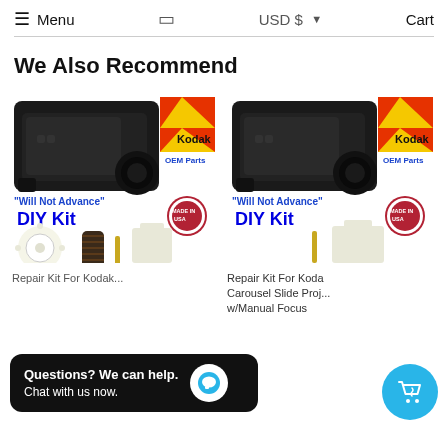Menu  USD $  Cart
We Also Recommend
[Figure (photo): Repair Kit For Kodak Carousel Slide Projector - 'Will Not Advance' DIY Kit with gear, worm screw, pin and bracket parts, Kodak OEM Parts logo, Made in USA badge]
Repair Kit For Kodak Carousel Slide Projector...
[Figure (photo): Repair Kit For Kodak Carousel Slide Projector w/Manual Focus - 'Will Not Advance' DIY Kit with pin and bracket parts, Kodak OEM Parts logo, Made in USA badge]
Repair Kit For Kodak Carousel Slide Projector w/Manual Focus